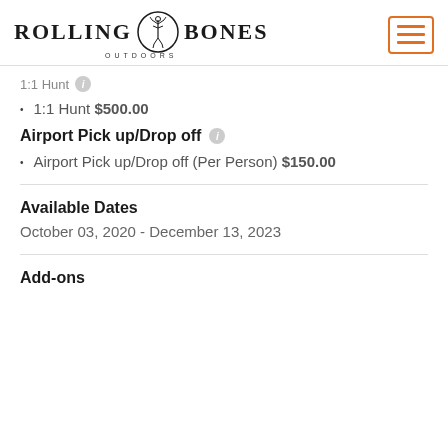[Figure (logo): Rolling Bones Outdoors logo with deer skeleton in circle, and hamburger menu button in orange]
1:1 Hunt
1:1 Hunt $500.00
Airport Pick up/Drop off
Airport Pick up/Drop off (Per Person) $150.00
Available Dates
October 03, 2020 - December 13, 2023
Add-ons